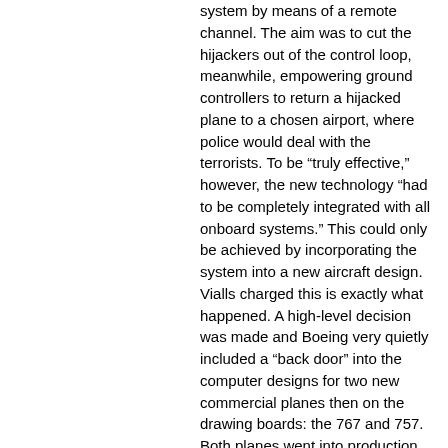system by means of a remote channel. The aim was to cut the hijackers out of the control loop, meanwhile, empowering ground controllers to return a hijacked plane to a chosen airport, where police would deal with the terrorists. To be “truly effective,” however, the new technology “had to be completely integrated with all onboard systems.” This could only be achieved by incorporating the system into a new aircraft design. Vialls charged this is exactly what happened. A high-level decision was made and Boeing very quietly included a “back door” into the computer designs for two new commercial planes then on the drawing boards: the 767 and 757. Both planes went into production in the early 1980s.
Vialls shocked even internet users when he posted all of this on his web site in October 2001.[ix] He contended that the system, although designed for the best of intentions, all